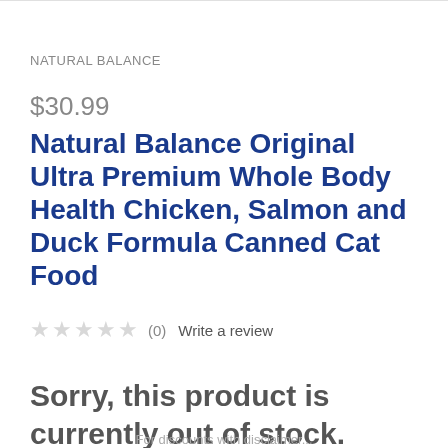NATURAL BALANCE
$30.99
Natural Balance Original Ultra Premium Whole Body Health Chicken, Salmon and Duck Formula Canned Cat Food
★★★★★ (0)   Write a review
Sorry, this product is currently out of stock.
For discounts with disclaimer...